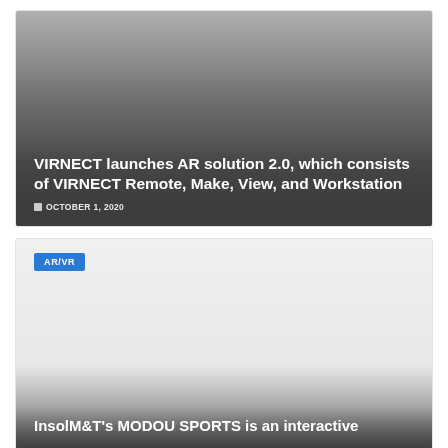[Figure (photo): Card with gradient overlay showing article thumbnail for VIRNECT AR solution 2.0]
VIRNECT launches AR solution 2.0, which consists of VIRNECT Remote, Make, View, and Workstation
OCTOBER 1, 2020
[Figure (photo): Card with light background and gradient overlay for InsolM&T MODOU SPORTS article, with AR/VR badge]
AR/VR
InsolM&T's MODOU SPORTS is an interactive